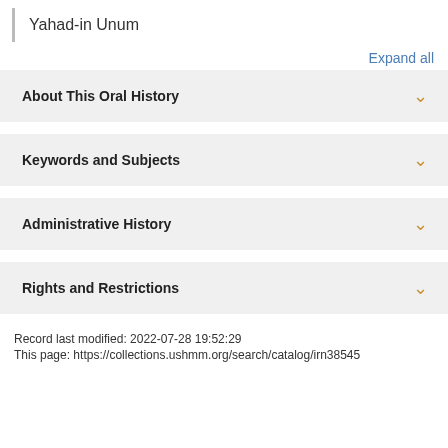Yahad-in Unum
Expand all
About This Oral History
Keywords and Subjects
Administrative History
Rights and Restrictions
Record last modified: 2022-07-28 19:52:29
This page: https://collections.ushmm.org/search/catalog/irn38545